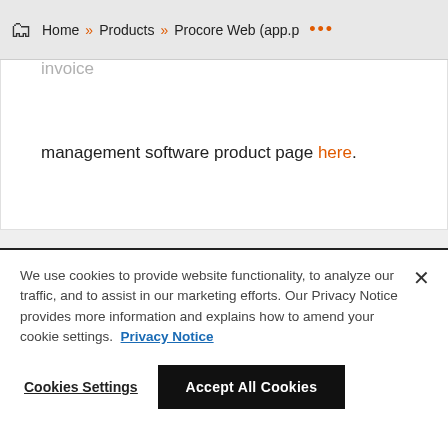Home » Products » Procore Web (app.p …
If you would like to learn more about Procore's your business, please visit our construction invoice management software product page here.
[Figure (other): Social media icons: LinkedIn, Facebook, Twitter, Instagram, YouTube]
© 2022 Procore Technologies, Inc.
Privacy Notice | Terms of Service | procore.com | Log In |
We use cookies to provide website functionality, to analyze our traffic, and to assist in our marketing efforts. Our Privacy Notice provides more information and explains how to amend your cookie settings. Privacy Notice
Cookies Settings   Accept All Cookies